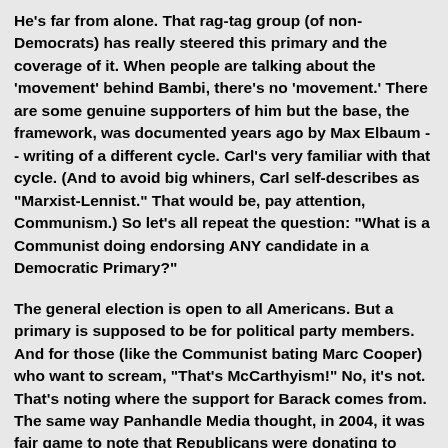He's far from alone. That rag-tag group (of non-Democrats) has really steered this primary and the coverage of it. When people are talking about the 'movement' behind Bambi, there's no 'movement.' There are some genuine supporters of him but the base, the framework, was documented years ago by Max Elbaum -- writing of a different cycle. Carl's very familiar with that cycle. (And to avoid big whiners, Carl self-describes as "Marxist-Lennist." That would be, pay attention, Communism.) So let's all repeat the question: "What is a Communist doing endorsing ANY candidate in a Democratic Primary?"
The general election is open to all Americans. But a primary is supposed to be for political party members. And for those (like the Communist bating Marc Cooper) who want to scream, "That's McCarthyism!" No, it's not. That's noting where the support for Barack comes from. The same way Panhandle Media thought, in 2004, it was fair game to note that Republicans were donating to Ralph Nader's campaign. Fair's fair. Thing is,